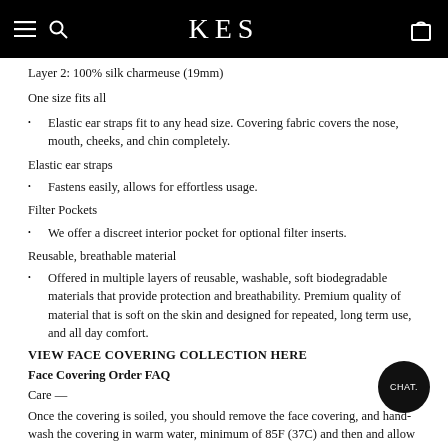KES
Layer 2: 100% silk charmeuse (19mm)
One size fits all
Elastic ear straps fit to any head size. Covering fabric covers the nose, mouth, cheeks, and chin completely.
Elastic ear straps
Fastens easily, allows for effortless usage.
Filter Pockets
We offer a discreet interior pocket for optional filter inserts.
Reusable, breathable material
Offered in multiple layers of reusable, washable, soft biodegradable materials that provide protection and breathability. Premium quality of material that is soft on the skin and designed for repeated, long term use, and all day comfort.
VIEW FACE COVERING COLLECTION HERE
Face Covering Order FAQ
Care —
Once the covering is soiled, you should remove the face covering, and hand-wash the covering in warm water, minimum of 85F (37C) and then and allow